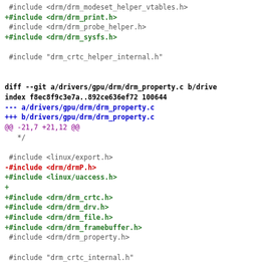#include <drm/drm_modeset_helper_vtables.h>
+#include <drm/drm_print.h>
 #include <drm/drm_probe_helper.h>
+#include <drm/drm_sysfs.h>

 #include "drm_crtc_helper_internal.h"


diff --git a/drivers/gpu/drm/drm_property.c b/drive
index f8ec8f9c3e7a..892ce636ef72 100644
--- a/drivers/gpu/drm/drm_property.c
+++ b/drivers/gpu/drm/drm_property.c
@@ -21,7 +21,12 @@
   */

 #include <linux/export.h>
-#include <drm/drmP.h>
+#include <linux/uaccess.h>
+
+#include <drm/drm_crtc.h>
+#include <drm/drm_drv.h>
+#include <drm/drm_file.h>
+#include <drm/drm_framebuffer.h>
 #include <drm/drm_property.h>

 #include "drm_crtc_internal.h"

diff --git ...